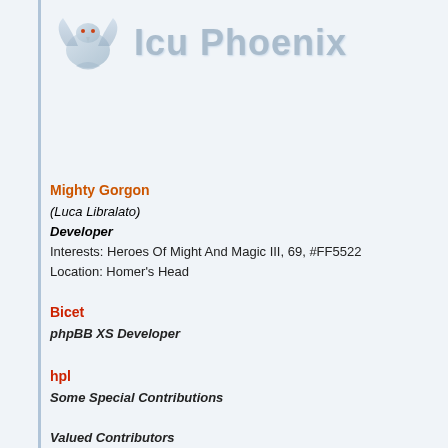[Figure (logo): Icu Phoenix logo with stylized bird/phoenix graphic and text 'Icu Phoenix' in gray metallic lettering]
Mighty Gorgon
(Luca Libralato)
Developer
Interests: Heroes Of Might And Magic III, 69, #FF5522
Location: Homer's Head
Bicet
phpBB XS Developer
hpl
Some Special Contributions
Valued Contributors
Andrea75
Artie
brandsrus
buldo
casimedicos
Chaotic
CyberAlien
difus